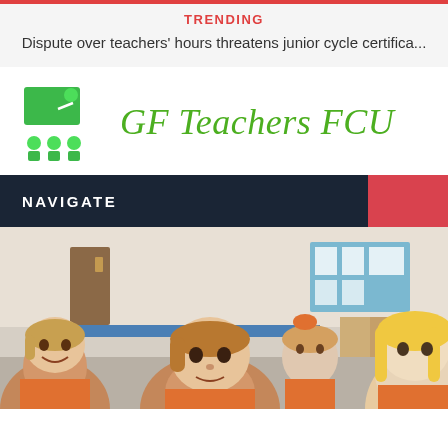TRENDING
Dispute over teachers' hours threatens junior cycle certifica...
[Figure (logo): GF Teachers FCU logo with green icon of teacher at board and students, and green italic text 'GF Teachers FCU']
NAVIGATE
[Figure (photo): Photo of young children (elementary school age) in a classroom, smiling, wearing orange shirts, with classroom decor visible in the background]